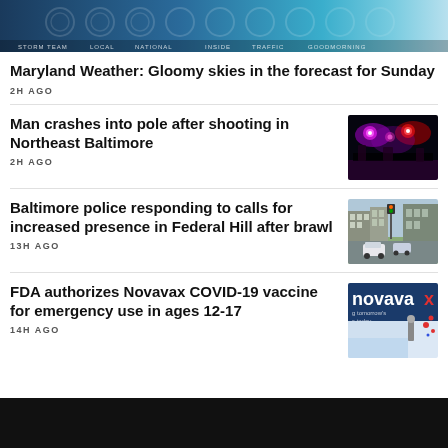[Figure (screenshot): News website header banner with blue/teal gradient and navigation menu items]
Maryland Weather: Gloomy skies in the forecast for Sunday
2H AGO
Man crashes into pole after shooting in Northeast Baltimore
2H AGO
[Figure (photo): Police lights at night with red and blue flashing lights in dark scene]
Baltimore police responding to calls for increased presence in Federal Hill after brawl
13H AGO
[Figure (photo): Street scene in Federal Hill Baltimore with cars and buildings]
FDA authorizes Novavax COVID-19 vaccine for emergency use in ages 12-17
14H AGO
[Figure (photo): Novavax logo and branding with text 'tomorrow's today']